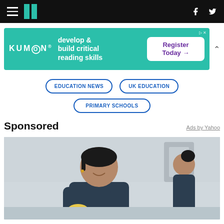HuffPost navigation with hamburger menu, logo, Facebook and Twitter icons
[Figure (other): Kumon advertisement banner: 'develop & build critical reading skills — Register Today →']
EDUCATION NEWS
UK EDUCATION
PRIMARY SCHOOLS
Sponsored
Ads by Yahoo
[Figure (photo): Two women in dark scrubs in a clinical/cleaning setting; the woman in the foreground is smiling with arms crossed and wearing yellow gloves; another woman is visible in the background]